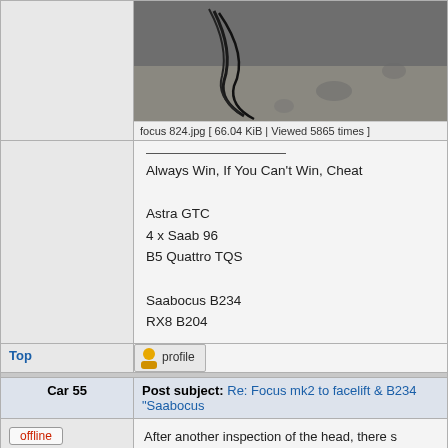[Figure (photo): Photo of car parts/engine area, dark cables visible on concrete surface]
focus 824.jpg [ 66.04 KiB | Viewed 5865 times ]
Always Win, If You Can't Win, Cheat

Astra GTC
4 x Saab 96
B5 Quattro TQS

Saabocus B234
RX8 B204
Top
[Figure (other): Profile button with user icon]
Car 55
Post subject: Re: Focus mk2 to facelift & B234 "Saabocus"
offline
UKS Addict
After another inspection of the head, there s through exhaust valve ports so decided just It wasn't the original head off that engine, su